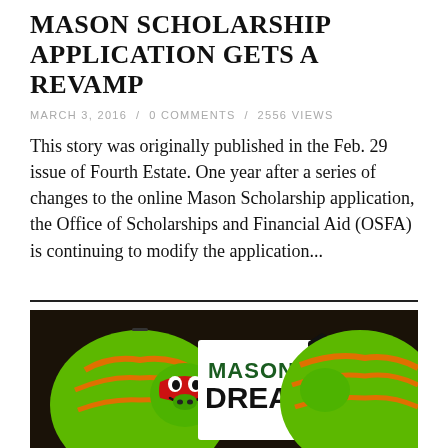MASON SCHOLARSHIP APPLICATION GETS A REVAMP
MARCH 3, 2016  /  0 COMMENTS  /  2556 VIEWS
This story was originally published in the Feb. 29 issue of Fourth Estate. One year after a series of changes to the online Mason Scholarship application, the Office of Scholarships and Financial Aid (OSFA) is continuing to modify the application...
[Figure (photo): Two green Teenage Mutant Ninja Turtle-themed piggy banks flanking a 'Mason Dreamers' sign with a graduation cap bottle icon]